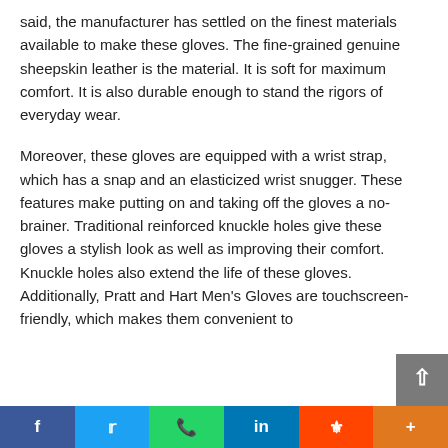said, the manufacturer has settled on the finest materials available to make these gloves. The fine-grained genuine sheepskin leather is the material. It is soft for maximum comfort. It is also durable enough to stand the rigors of everyday wear.
Moreover, these gloves are equipped with a wrist strap, which has a snap and an elasticized wrist snugger. These features make putting on and taking off the gloves a no-brainer. Traditional reinforced knuckle holes give these gloves a stylish look as well as improving their comfort. Knuckle holes also extend the life of these gloves. Additionally, Pratt and Hart Men’s Gloves are touchscreen-friendly, which makes them convenient to